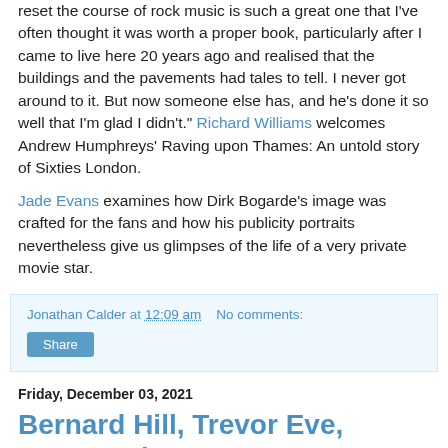reset the course of rock music is such a great one that I've often thought it was worth a proper book, particularly after I came to live here 20 years ago and realised that the buildings and the pavements had tales to tell. I never got around to it. But now someone else has, and he's done it so well that I'm glad I didn't." Richard Williams welcomes Andrew Humphreys' Raving upon Thames: An untold story of Sixties London.
Jade Evans examines how Dirk Bogarde's image was crafted for the fans and how his publicity portraits nevertheless give us glimpses of the life of a very private movie star.
Jonathan Calder at 12:09 am   No comments:
Share
Friday, December 03, 2021
Bernard Hill, Trevor Eve, Antony Sher ... & George.